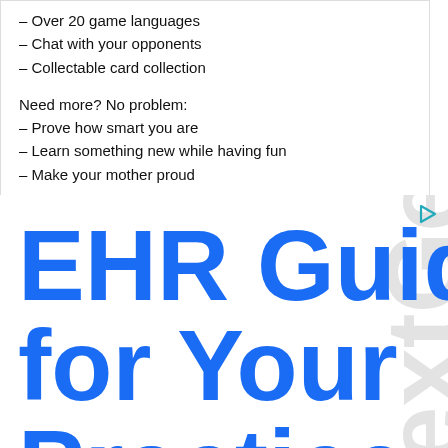Over 20 game languages
Chat with your opponents
Collectable card collection
Need more? No problem:
Prove how smart you are
Learn something new while having fun
Make your mother proud
[Figure (advertisement): Advertisement banner for EHR Guide for Your Practice with NextGen watermark]
EHR Guide for Your Practice